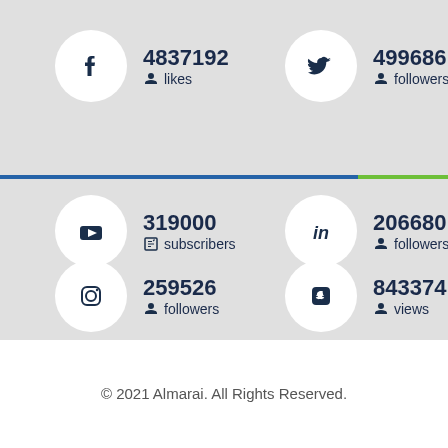[Figure (infographic): Facebook icon circle with 4837192 likes]
[Figure (infographic): Twitter icon circle with 499686 followers]
[Figure (infographic): YouTube icon circle with 319000 subscribers]
[Figure (infographic): LinkedIn icon circle with 206680 followers]
[Figure (infographic): Instagram icon circle with 259526 followers]
[Figure (infographic): Snapchat icon circle with 843374 views]
© 2021 Almarai. All Rights Reserved.